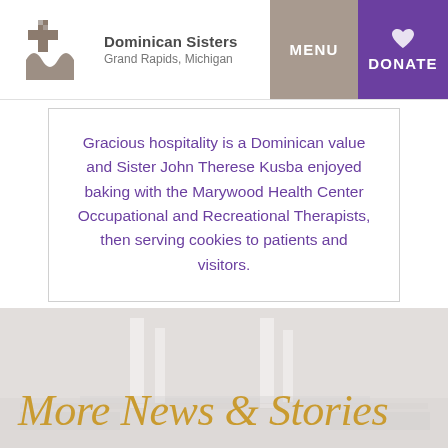Dominican Sisters Grand Rapids, Michigan — MENU | DONATE
Gracious hospitality is a Dominican value and Sister John Therese Kusba enjoyed baking with the Marywood Health Center Occupational and Recreational Therapists, then serving cookies to patients and visitors.
More News & Stories